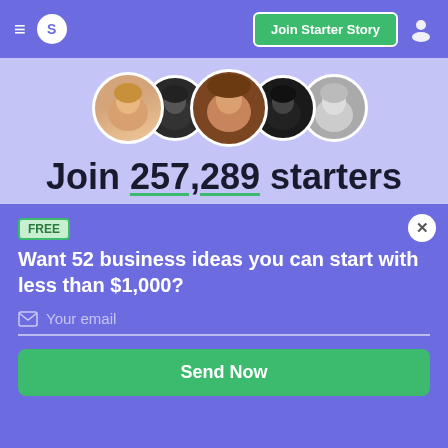≡  S   Join Starter Story  👤
[Figure (illustration): Row of 5 circular avatar photos of people]
Join 257,289 starters building the business of their dreams
FREE
Want 52 business ideas you can start with less than $1,000?
Your email
Send Now